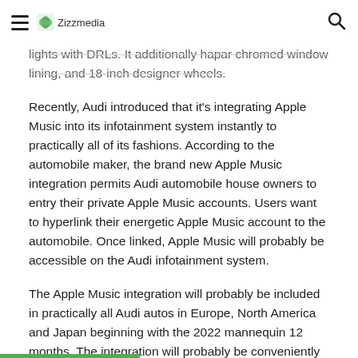Zizzmedia
lights with DRLs. It additionally hapar chromed window lining, and 18-inch designer wheels.
Recently, Audi introduced that it's integrating Apple Music into its infotainment system instantly to practically all of its fashions. According to the automobile maker, the brand new Apple Music integration permits Audi automobile house owners to entry their private Apple Music accounts. Users want to hyperlink their energetic Apple Music account to the automobile. Once linked, Apple Music will probably be accessible on the Audi infotainment system.
The Apple Music integration will probably be included in practically all Audi autos in Europe, North America and Japan beginning with the 2022 mannequin 12 months. The integration will probably be conveniently rolled out to autos already on the street through an automated over-the-air